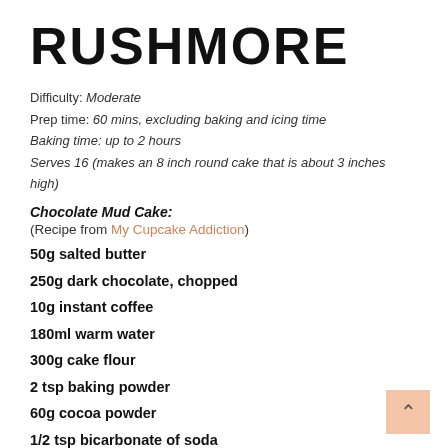RUSHMORE
Difficulty: Moderate
Prep time: 60 mins, excluding baking and icing time
Baking time: up to 2 hours
Serves 16 (makes an 8 inch round cake that is about 3 inches high)
Chocolate Mud Cake:
(Recipe from My Cupcake Addiction)
50g salted butter
250g dark chocolate, chopped
10g instant coffee
180ml warm water
300g cake flour
2 tsp baking powder
60g cocoa powder
1/2 tsp bicarbonate of soda
5 eggs, lightly beaten